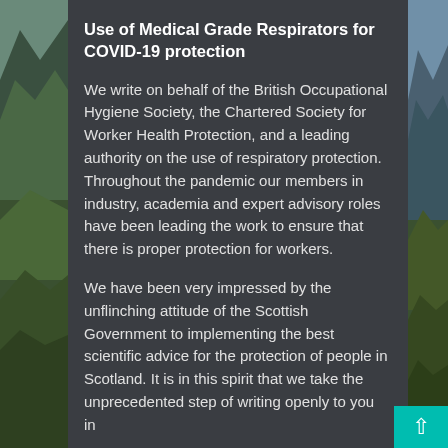Use of Medical Grade Respirators for COVID-19 protection
We write on behalf of the British Occupational Hygiene Society, the Chartered Society for Worker Health Protection, and a leading authority on the use of respiratory protection. Throughout the pandemic our members in industry, academia and expert advisory roles have been leading the work to ensure that there is proper protection for workers.
We have been very impressed by the unflinching attitude of the Scottish Government to implementing the best scientific advice for the protection of people in Scotland. It is in this spirit that we take the unprecedented step of writing openly to you in